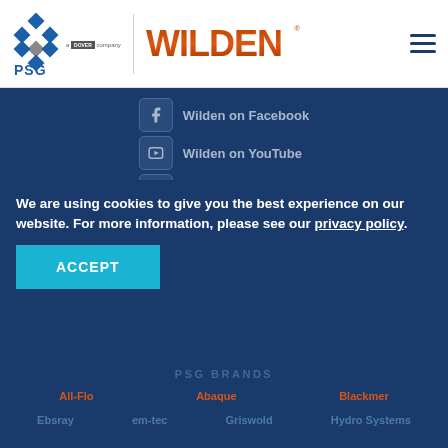[Figure (logo): PSG logo with diamond shapes and 'a Dover company' text]
[Figure (logo): Wilden logo in orange/brown gradient text with registered trademark]
Wilden on Facebook
Wilden on YouTube
Wilden on Twitter
EMAIL UPDATES
We are using cookies to give you the best experience on our website. For more information, please see our privacy policy.
ACCEPT
PSG BRANDS
All-Flo
Abaque
Blackmer
Ebsray
em-tec
Griswold
Hydro Systems